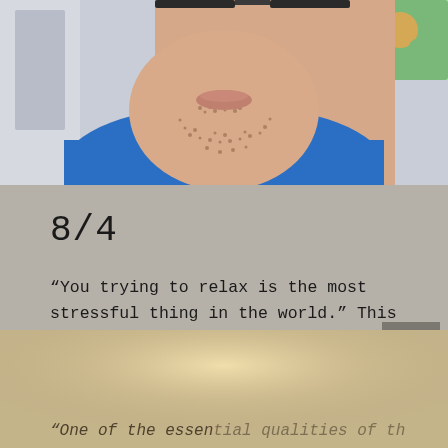[Figure (photo): Close-up selfie photo of a man from nose down wearing glasses and a blue shirt/scrubs, taken from above]
8/4
“You trying to relax is the most stressful thing in the world.” This is what Jaimie said to me yesterday as I …
[Figure (photo): Partial photo showing a warm lamp-lit surface with partially visible text reading “One of the essential qualities of the”]